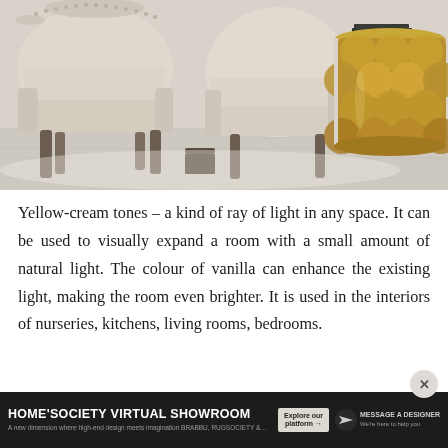[Figure (photo): Interior design photo showing two cream/beige upholstered barrel chairs with dark wood legs, a partial view of a dark wood coffee table in between, and a gold/brass drum-shaped end table on the right with a scalloped pattern. The floor appears to be light-colored hardwood or tile.]
Yellow-cream tones – a kind of ray of light in any space. It can be used to visually expand a room with a small amount of natural light. The colour of vanilla can enhance the existing light, making the room even brighter. It is used in the interiors of nurseries, kitchens, living rooms, bedrooms.
[Figure (screenshot): Advertisement banner at the bottom: 'HOME'SOCIETY VIRTUAL SHOWROOM – A new dimension where high-end design meets imagination BRABBU, RUGSOCIETY & MAISON... EXPLORE OUR PLATFORM | MESSAGE A DESIGNER']